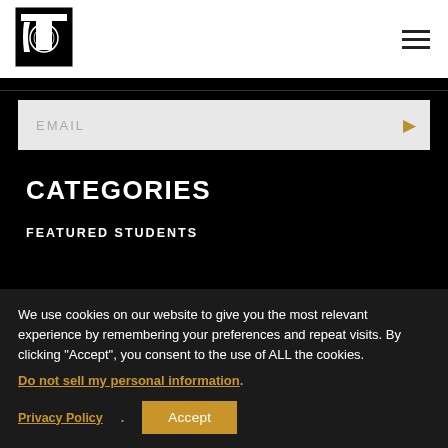Navigation bar with logo and hamburger menu
[Figure (logo): Stylized TC monogram logo in black and white]
EMAIL
CATEGORIES
FEATURED STUDENTS
We use cookies on our website to give you the most relevant experience by remembering your preferences and repeat visits. By clicking “Accept”, you consent to the use of ALL the cookies.
Do not sell my personal information.
Privacy Policy
Accept